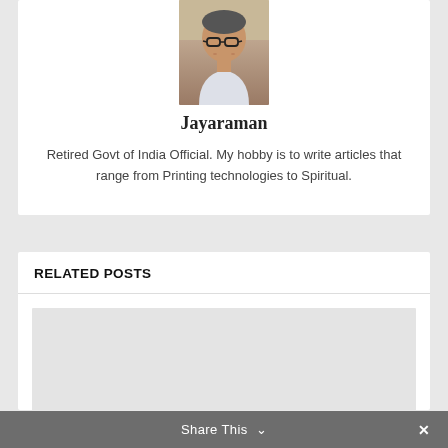[Figure (photo): Headshot photo of an elderly Indian man wearing glasses, in a light-colored shirt]
Jayaraman
Retired Govt of India Official. My hobby is to write articles that range from Printing technologies to Spiritual.
RELATED POSTS
[Figure (photo): Placeholder image area for a related post thumbnail]
Share This ∨  ✕